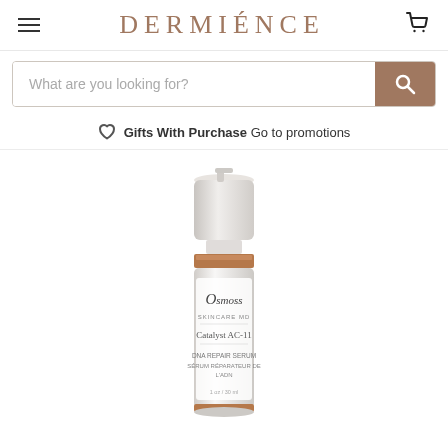DERMIÉNCE
What are you looking for?
Gifts With Purchase  Go to promotions
[Figure (photo): Osmosis MD Catalyst AC-11 DNA Repair Serum product bottle — white cylindrical pump bottle with rose-gold band, white label with Osmosis MD branding]